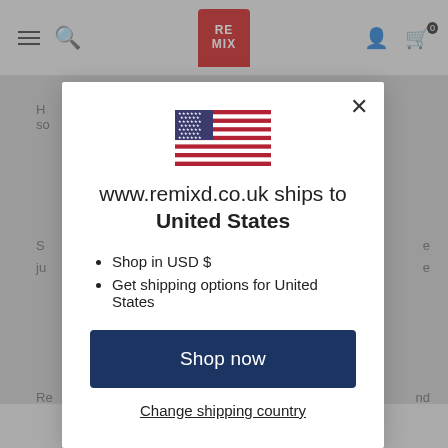REMIX logo navigation bar with hamburger menu, search, user account, and cart (0) icons
[Figure (screenshot): US flag emoji / illustration centered in modal]
www.remixd.co.uk ships to United States
Shop in USD $
Get shipping options for United States
Shop now
Change shipping country
Share  Tweet  Pin It  Whatsapp  Email